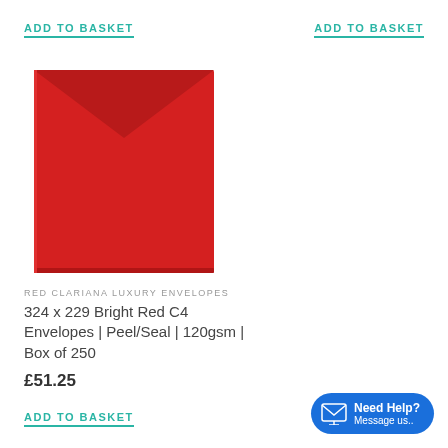ADD TO BASKET
ADD TO BASKET
[Figure (photo): Red C4 envelope standing upright, bright red color, portrait orientation, with triangular flap at top]
RED CLARIANA LUXURY ENVELOPES
324 x 229 Bright Red C4 Envelopes | Peel/Seal | 120gsm | Box of 250
£51.25
ADD TO BASKET